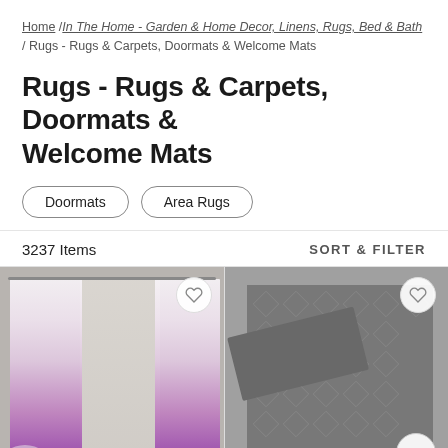Home / In The Home - Garden & Home Decor, Linens, Rugs, Bed & Bath / Rugs - Rugs & Carpets, Doormats & Welcome Mats
Rugs - Rugs & Carpets, Doormats & Welcome Mats
Doormats
Area Rugs
3237 Items
SORT & FILTER
[Figure (photo): Purple ombre gradient curtain panels hanging on a rod in a room setting]
[Figure (photo): Gray patterned area rug with diamond texture design, folded corner showing]